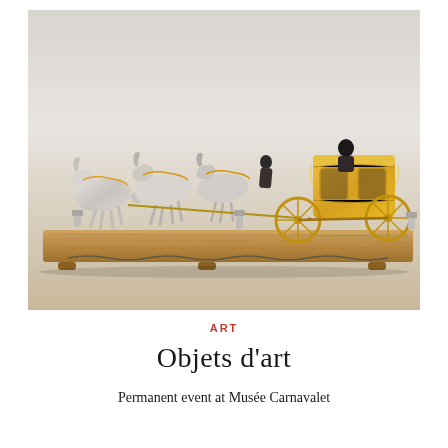[Figure (photo): A decorative miniature model of a horse-drawn golden carriage with multiple white/silver horses on a wooden base, displayed against a white/grey background. The model appears to be an ornate decorative art object with fine metalwork details.]
ART
Objets d'art
Permanent event at Musée Carnavalet